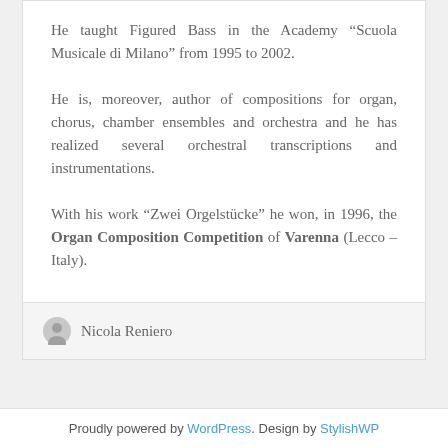He taught Figured Bass in the Academy “Scuola Musicale di Milano” from 1995 to 2002.
He is, moreover, author of compositions for organ, chorus, chamber ensembles and orchestra and he has realized several orchestral transcriptions and instrumentations.
With his work “Zwei Orgelstücke” he won, in 1996, the Organ Composition Competition of Varenna (Lecco – Italy).
Nicola Reniero
Proudly powered by WordPress. Design by StylishWP